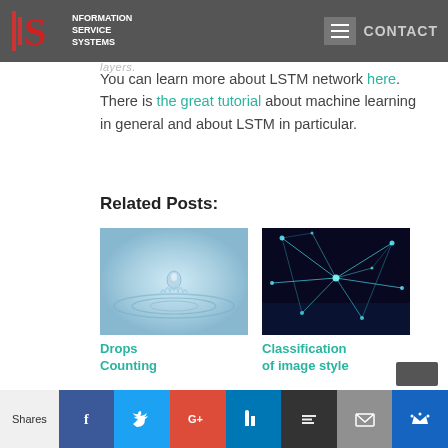ISS Information Service Systems | CONTACT
You can learn more about LSTM network here. There is the great tutorial about machine learning in general and about LSTM in particular.
Related Posts:
[Figure (photo): Water drop splash ripple photo for Drops Counting post]
Drops Counting
[Figure (photo): Blue neon network nodes and connections on dark background for Classification of image style post]
Classification of image style
Shares | Facebook | Twitter | Google+ | LinkedIn | Buffer | Email | Crown